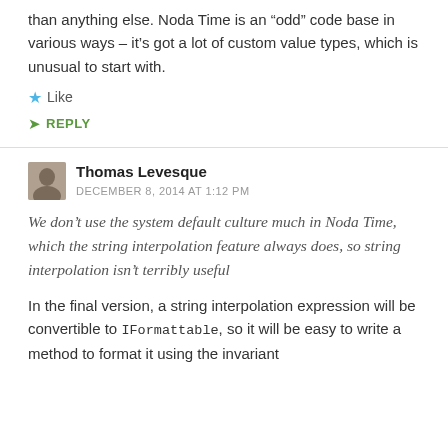than anything else. Noda Time is an “odd” code base in various ways – it’s got a lot of custom value types, which is unusual to start with.
Like
REPLY
Thomas Levesque
DECEMBER 8, 2014 AT 1:12 PM
We don’t use the system default culture much in Noda Time, which the string interpolation feature always does, so string interpolation isn’t terribly useful
In the final version, a string interpolation expression will be convertible to IFormattable, so it will be easy to write a method to format it using the invariant